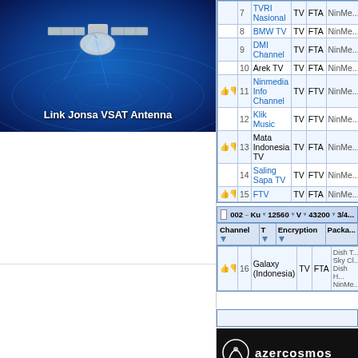[Figure (photo): Satellite dish antenna with blue space background, labeled 'Link Jonsa VSAT Antenna']
|  | # | Channel | T | Encryption | Package |
| --- | --- | --- | --- | --- | --- |
|  | 7 | TVRI Nasional | TV | FTA | NinMe... |
|  | 8 | BMW TV | TV | FTA | NinMe... |
|  | 9 | DMI Channel | TV | FTA | NinMe... |
|  | 10 | Arek TV | TV | FTA | NinMe... |
| thumbs | 11 | Ninmedia Info Channel | TV | FTV | NinMe... |
|  | 12 | Klik Music | TV | FTV | NinMe... |
| thumbs | 13 | Mata Indonesia TV | TV | FTA | NinMe... |
|  | 14 | Saling Sapa TV | TV | FTV | NinMe... |
| thumbs | 15 | FTV | TV | FTA | NinMe... |
|  | 002 | Ku | 12560 | V | 43200 | 3/4... |
| --- | --- | --- | --- | --- | --- | --- |
| Channel | T | Encryption | Package |
| --- | --- | --- | --- |
| thumbs, 16, Galaxy (Indonesia) | TV | FTA | Dish T... Sky Cl... Dish H... NinMe... |
[Figure (logo): Azercosmos logo on black background]